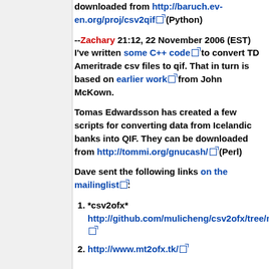downloaded from http://baruch.ev-en.org/proj/csv2qif (Python)
--Zachary 21:12, 22 November 2006 (EST) I've written some C++ code to convert TD Ameritrade csv files to qif. That in turn is based on earlier work from John McKown.
Tomas Edwardsson has created a few scripts for converting data from Icelandic banks into QIF. They can be downloaded from http://tommi.org/gnucash/ (Perl)
Dave sent the following links on the mailinglist:
1. *csv2ofx* http://github.com/mulicheng/csv2ofx/tree/master
2. http://www.mt2ofx.tk/